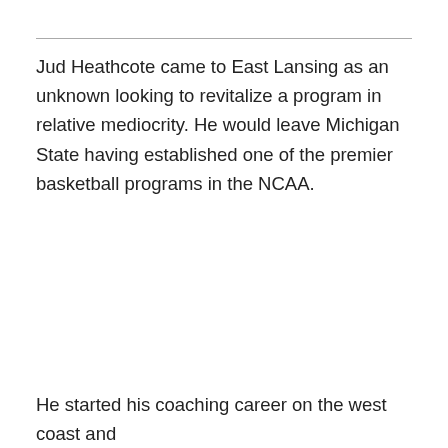Jud Heathcote came to East Lansing as an unknown looking to revitalize a program in relative mediocrity. He would leave Michigan State having established one of the premier basketball programs in the NCAA.
He started his coaching career on the west coast and